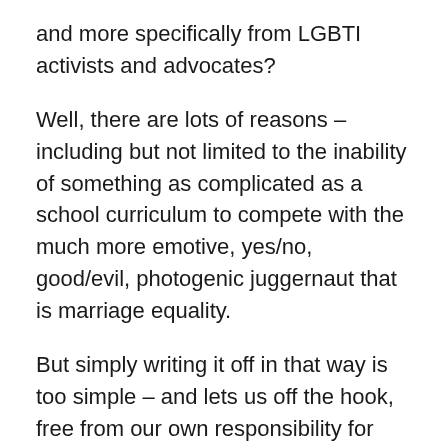and more specifically from LGBTI activists and advocates?
Well, there are lots of reasons – including but not limited to the inability of something as complicated as a school curriculum to compete with the much more emotive, yes/no, good/evil, photogenic juggernaut that is marriage equality.
But simply writing it off in that way is too simple – and lets us off the hook, free from our own responsibility for this failure. Because, if the exclusion of LGBTI students and content from the HPE curriculum was not a public issue, it is because we, as LGBTI activists and advocates, did not make it one.
In which case, I would like to sincerely apologise to future generations of young LGBTI people, who we failed over